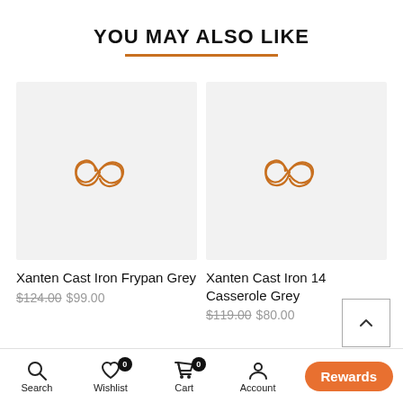YOU MAY ALSO LIKE
[Figure (screenshot): Product card image placeholder for Xanten Cast Iron Frypan Grey with orange infinity logo on grey background]
Xanten Cast Iron Frypan Grey
$124.00 $99.00
[Figure (screenshot): Product card image placeholder for Xanten Cast Iron 14 Casserole Grey with orange infinity logo on grey background]
Xanten Cast Iron 14 Casserole Grey
$119.00 $80.00
Search  Wishlist 0  Cart 0  Account  Shop  Rewards